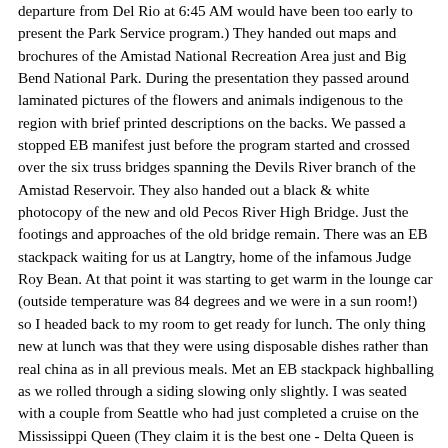departure from Del Rio at 6:45 AM would have been too early to present the Park Service program.) They handed out maps and brochures of the Amistad National Recreation Area just and Big Bend National Park. During the presentation they passed around laminated pictures of the flowers and animals indigenous to the region with brief printed descriptions on the backs. We passed a stopped EB manifest just before the program started and crossed over the six truss bridges spanning the Devils River branch of the Amistad Reservoir. They also handed out a black & white photocopy of the new and old Pecos River High Bridge. Just the footings and approaches of the old bridge remain. There was an EB stackpack waiting for us at Langtry, home of the infamous Judge Roy Bean. At that point it was starting to get warm in the lounge car (outside temperature was 84 degrees and we were in a sun room!) so I headed back to my room to get ready for lunch. The only thing new at lunch was that they were using disposable dishes rather than real china as in all previous meals. Met an EB stackpack highballing as we rolled through a siding slowing only slightly. I was seated with a couple from Seattle who had just completed a cruise on the Mississippi Queen (They claim it is the best one - Delta Queen is too small and the American Queen is too big!). They've made the cruise 10 times - another woman has done it 150 times! They had lived in Colorado Springs during the big flood in the 60's, then moved to Evergreen. He is also a physicist (how many technical people is that now?) At 1:44 PM we passed a